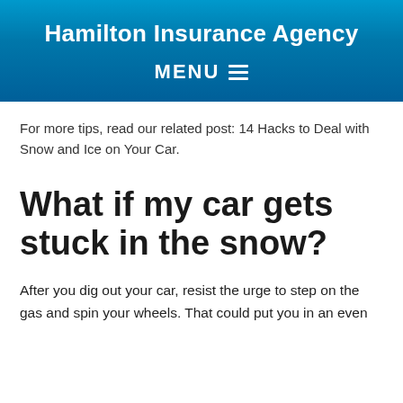Hamilton Insurance Agency
MENU
For more tips, read our related post: 14 Hacks to Deal with Snow and Ice on Your Car.
What if my car gets stuck in the snow?
After you dig out your car, resist the urge to step on the gas and spin your wheels. That could put you in an even